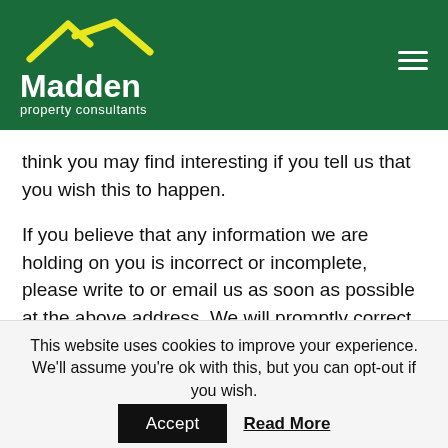[Figure (logo): Madden property consultants logo with yellow rooftop icon on dark green background header]
think you may find interesting if you tell us that you wish this to happen.
If you believe that any information we are holding on you is incorrect or incomplete, please write to or email us as soon as possible at the above address. We will promptly correct any information found to be incorrect.
This website uses cookies to improve your experience. We'll assume you're ok with this, but you can opt-out if you wish.
Accept   Read More